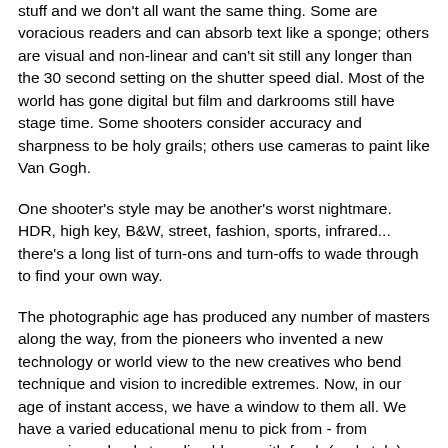stuff and we don't all want the same thing. Some are voracious readers and can absorb text like a sponge; others are visual and non-linear and can't sit still any longer than the 30 second setting on the shutter speed dial. Most of the world has gone digital but film and darkrooms still have stage time. Some shooters consider accuracy and sharpness to be holy grails; others use cameras to paint like Van Gogh.
One shooter's style may be another's worst nightmare. HDR, high key, B&W, street, fashion, sports, infrared... there's a long list of turn-ons and turn-offs to wade through to find your own way.
The photographic age has produced any number of masters along the way, from the pioneers who invented a new technology or world view to the new creatives who bend technique and vision to incredible extremes. Now, in our age of instant access, we have a window to them all. We have a varied educational menu to pick from - from expensive schools to online blogs, with fresh (and stale) information flowing at us in torrents. With a bit of effort, anyone can develop his or her own MASTER CLASS syllabus.
That's the easy part. Just because we have access to brilliance doesn't mean it will rub off on us every time we watch a YouTube tutorial or spend a few mornings with Creative Live or drool over the